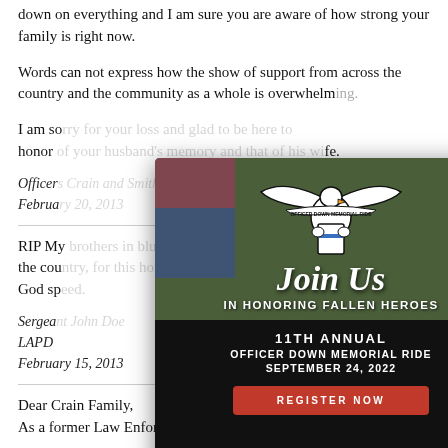down on everything and I am sure you are aware of how strong your family is right now.
Words can not express how the show of support from across the country and the community as a whole is overwhelming.
I am so [obscured by modal] honor of [obscured] life.
Officer [obscured]
February [obscured]
RIP My [obscured] and to the country [obscured] ess act, God sp[obscured]
Sergeant [obscured]
LAPD
February 15, 2013
Dear Crain Family,
As a former Law Enforcement Officer and a mother, my
[Figure (infographic): Modal popup for Officer Down Memorial Ride. Features eagle logo with 'OFFICER DOWN MEMORIAL RIDE' banner, 'Join Us IN HONORING FALLEN HEROES', '11TH ANNUAL OFFICER DOWN MEMORIAL RIDE SEPTEMBER 24, 2022', and a red 'REGISTER NOW' button. Background shows motorcycle photo. Has X close button.]